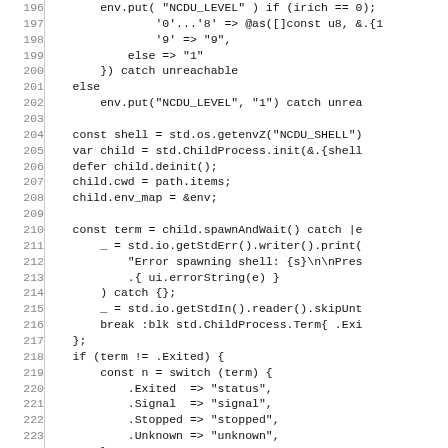[Figure (screenshot): Source code listing in a monospace font showing Zig code lines 196-226, with line numbers on the left and code on the right. The code involves environment variable handling, child process spawning, and switch statements.]